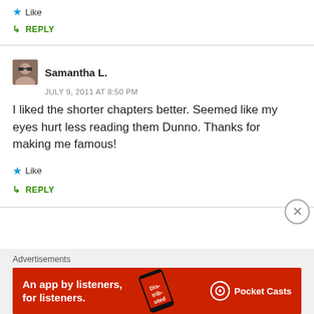★ Like
↳ REPLY
Samantha L.
JULY 9, 2011 AT 8:50 PM
I liked the shorter chapters better. Seemed like my eyes hurt less reading them Dunno. Thanks for making me famous!
★ Like
↳ REPLY
Advertisements
[Figure (illustration): Pocket Casts advertisement banner: red background with text 'An app by listeners, for listeners.' and a phone image with 'Distributed' text, Pocket Casts logo on the right.]